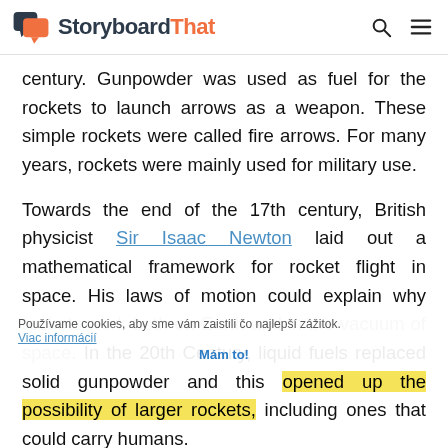StoryboardThat
century. Gunpowder was used as fuel for the rockets to launch arrows as a weapon. These simple rockets were called fire arrows. For many years, rockets were mainly used for military use.
Towards the end of the 17th century, British physicist Sir Isaac Newton laid out a mathematical framework for rocket flight in space. His laws of motion could explain why rockets work both on Earth and in the vacuum of space. In the 20th Century, liquid fuels replaced solid gunpowder and this opened up the possibility of larger rockets, including ones that could carry humans.